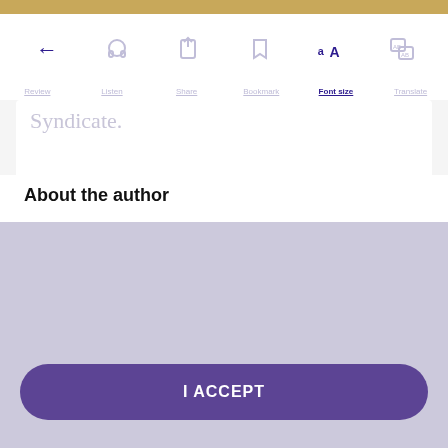[Figure (screenshot): Mobile app navigation bar with back arrow, headphones, share, bookmark, font size (aA active/highlighted), and translate icons]
Syndicate
About the author
This website uses cookies to improve functionality and performance. By continuing to browse the site you are agreeing to our use of cookies.
I ACCEPT